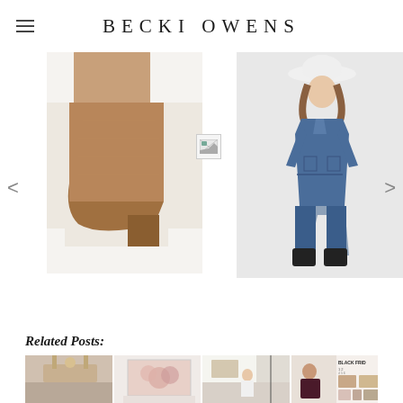BECKI OWENS
[Figure (photo): Carousel with navigation arrows. Left: brown suede block-heel ankle boots on white background. Center: broken/missing image placeholder icon. Right: woman wearing blue denim jumpsuit with black boots and white hat.]
Related Posts:
[Figure (photo): Four related post thumbnail images: 1) interior room with pendant light, 2) pink floral wall art above bed, 3) woman in white standing in kitchen, 4) Black Friday fashion collage.]